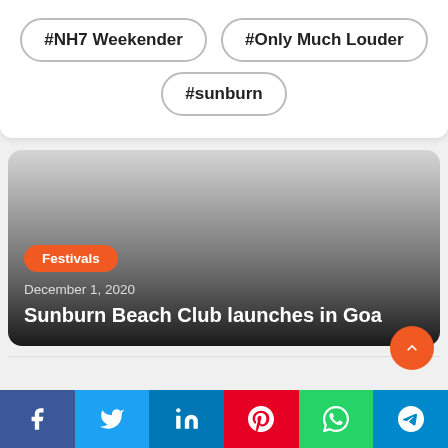#NH7 Weekender
#Only Much Louder
#sunburn
[Figure (photo): Article card image with dark gradient overlay showing a Festivals category article]
Festivals
December 1, 2020
Sunburn Beach Club launches in Goa
Facebook Twitter LinkedIn Pinterest WhatsApp Telegram share buttons